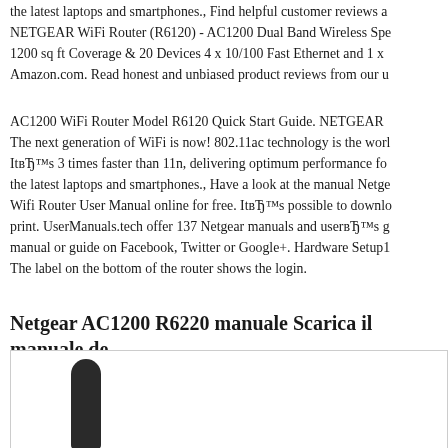the latest laptops and smartphones., Find helpful customer reviews a NETGEAR WiFi Router (R6120) - AC1200 Dual Band Wireless Spe 1200 sq ft Coverage & 20 Devices 4 x 10/100 Fast Ethernet and 1 x Amazon.com. Read honest and unbiased product reviews from our u
AC1200 WiFi Router Model R6120 Quick Start Guide. NETGEAR The next generation of WiFi is now! 802.11ac technology is the worl ItвЂ™s 3 times faster than 11n, delivering optimum performance for the latest laptops and smartphones., Have a look at the manual Netge Wifi Router User Manual online for free. ItвЂ™s possible to downlo print. UserManuals.tech offer 137 Netgear manuals and userвЂ™s g manual or guide on Facebook, Twitter or Google+. Hardware Setup1 The label on the bottom of the router shows the login.
Netgear AC1200 R6220 manuale Scarica il manuale de
[Figure (photo): Photo of a Netgear router showing a black antenna at the bottom of the frame]